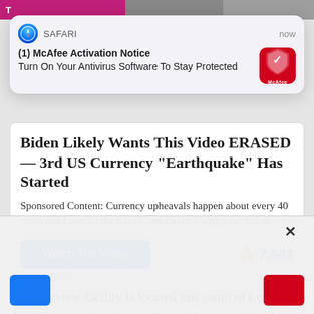[Figure (screenshot): Safari browser notification card showing McAfee Activation Notice: '(1) McAfee Activation Notice - Turn On Your Antivirus Software To Stay Protected' with McAfee red shield icon]
Biden Likely Wants This Video ERASED — 3rd US Currency "Earthquake" Has Started
Sponsored Content: Currency upheavals happen about every 40 years and I predict the third Great Dollar Earthquake has st...
Sponsored Ad
The Fairview facility is located just south of Los Angeles, near Huntington Beach / Newport Beach. In their b[...] ility was ri[...] on